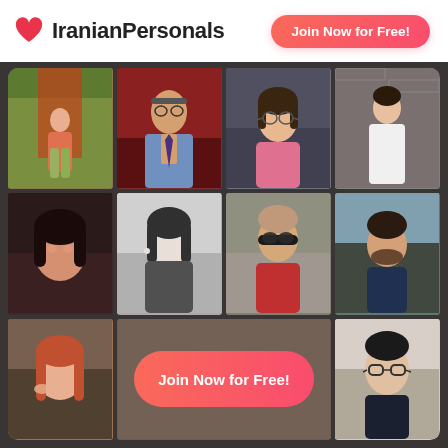[Figure (logo): IranianPersonals logo with red heart icon and bold text]
Join Now for Free!
[Figure (photo): 4x3 grid of profile photos of various people on a dark background, with a 'Join Now for Free!' CTA button overlay in the bottom center]
Join Now for Free!